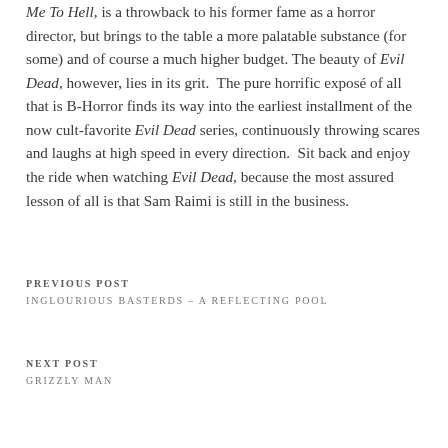Me To Hell, is a throwback to his former fame as a horror director, but brings to the table a more palatable substance (for some) and of course a much higher budget. The beauty of Evil Dead, however, lies in its grit. The pure horrific exposé of all that is B-Horror finds its way into the earliest installment of the now cult-favorite Evil Dead series, continuously throwing scares and laughs at high speed in every direction. Sit back and enjoy the ride when watching Evil Dead, because the most assured lesson of all is that Sam Raimi is still in the business.
PREVIOUS POST
INGLOURIOUS BASTERDS – A REFLECTING POOL
NEXT POST
GRIZZLY MAN